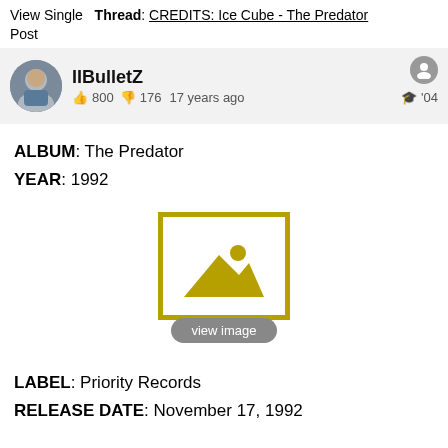View Single Post   Thread: CREDITS: Ice Cube - The Predator
IIBulletZ  800  176  17 years ago  '04
ALBUM: The Predator
YEAR: 1992
[Figure (other): Image placeholder with view image label]
LABEL: Priority Records
RELEASE DATE: November 17, 1992